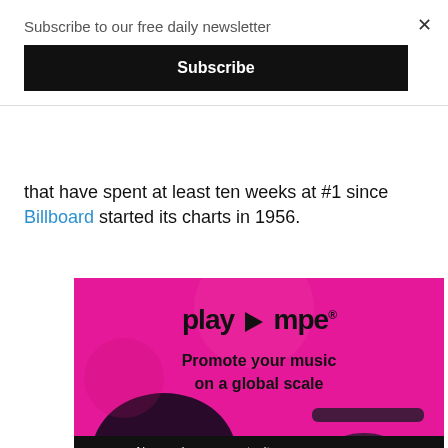Subscribe to our free daily newsletter
Subscribe
that have spent at least ten weeks at #1 since Billboard started its charts in 1956.
[Figure (infographic): Play MPE advertisement on a bright pink background with silhouette of two people and text: play mpe — Promote your music on a global scale. Close button (x) in top right. Below: Jaxsta banner with text 'Never miss an opportunity with your Jaxsta One Sheet' and close (x) button.]